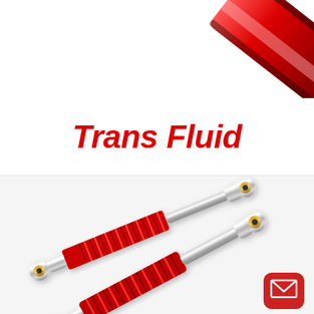[Figure (photo): Close-up of a shiny red automotive shock absorber or suspension component against a white background]
Trans Fluid
[Figure (photo): Two red and chrome coil-over shock absorbers / suspension units with red springs and gold-tipped mounting bushings, positioned diagonally on a white background. A red rounded-square email icon appears in the bottom right corner.]